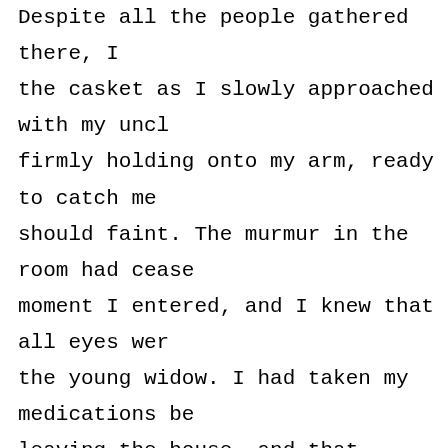Despite all the people gathered there, I the casket as I slowly approached with my uncl firmly holding onto my arm, ready to catch me should faint. The murmur in the room had cease moment I entered, and I knew that all eyes wer the young widow. I had taken my medications be leaving the house, and that perhaps was the ve thing that I could have done, because to this not remember what I saw in that cold gray coff remember that there was a pane of glass over t half of the casket so that the remains could n touched, and probably because Billy had been d a week. All I remember was that my aunt was ri was not my Billy, and with that thought alone, my uncle and the funeral director who had disc